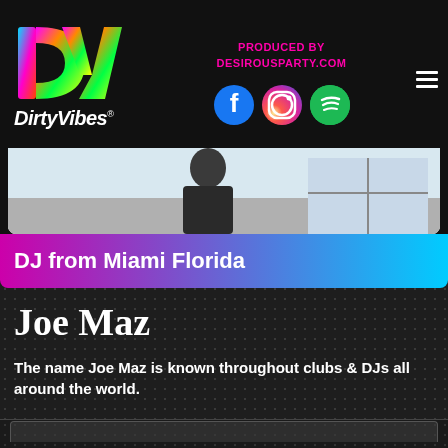[Figure (logo): DirtyVibes logo with colorful DV letters and italic DirtyVibes text]
PRODUCED BY DESIROUSPARTY.COM
[Figure (illustration): Social media icons: Facebook, Instagram, Spotify]
[Figure (photo): Photo of a person in a leather jacket, partially visible, outdoor background]
DJ from Miami Florida
Joe Maz
The name Joe Maz is known throughout clubs & DJs all around the world.